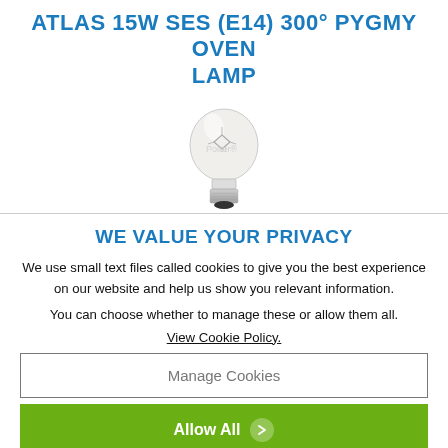ATLAS 15W SES (E14) 300° PYGMY OVEN LAMP
[Figure (photo): Product photo of a small pygmy oven lamp bulb with screw base (E14/SES), clear glass, with a faint watermark text in background.]
WE VALUE YOUR PRIVACY
We use small text files called cookies to give you the best experience on our website and help us show you relevant information.
You can choose whether to manage these or allow them all.
View Cookie Policy.
Manage Cookies
Allow All